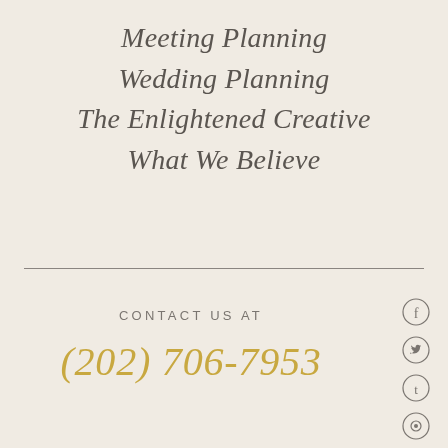Meeting Planning
Wedding Planning
The Enlightened Creative
What We Believe
CONTACT US AT
(202) 706-7953